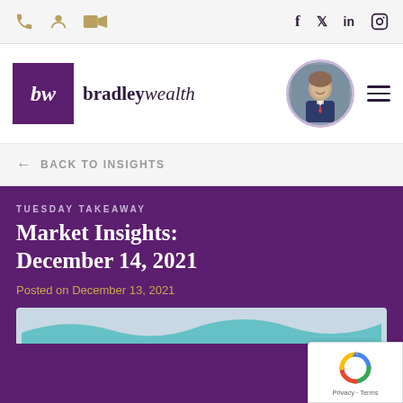Navigation bar with phone, user, video icons and social icons: f, twitter, in, instagram
[Figure (logo): Bradley Wealth logo: purple square with 'bw' text and brand name 'bradleywealth' next to it, plus circular avatar photo of a man in suit]
← BACK TO INSIGHTS
TUESDAY TAKEAWAY
Market Insights: December 14, 2021
Posted on December 13, 2021